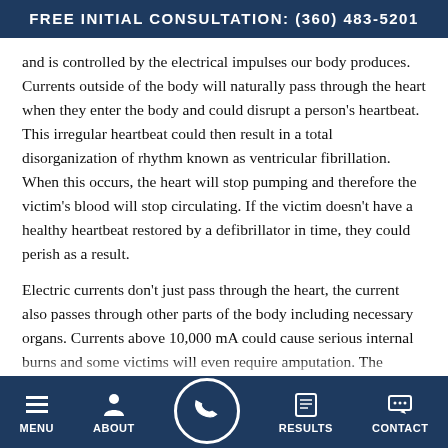FREE INITIAL CONSULTATION: (360) 483-5201
and is controlled by the electrical impulses our body produces. Currents outside of the body will naturally pass through the heart when they enter the body and could disrupt a person’s heartbeat. This irregular heartbeat could then result in a total disorganization of rhythm known as ventricular fibrillation. When this occurs, the heart will stop pumping and therefore the victim’s blood will stop circulating. If the victim doesn’t have a healthy heartbeat restored by a defibrillator in time, they could perish as a result.
Electric currents don’t just pass through the heart, the current also passes through other parts of the body including necessary organs. Currents above 10,000 mA could cause serious internal burns and some victims will even require amputation. The nervous system is also susceptible to electric shocks. Nerve damage from hi—
MENU   ABOUT   RESULTS   CONTACT